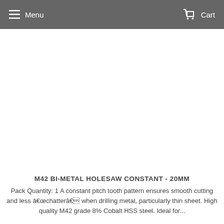Menu  Cart
[Figure (photo): Product image area - white/blank image placeholder for M42 Bi-Metal Holesaw]
M42 BI-METAL HOLESAW CONSTANT - 20MM
Pack Quantity: 1 A constant pitch tooth pattern ensures smooth cutting and less â€œchatterâ€ when drilling metal, particularly thin sheet. High quality M42 grade 8% Cobalt HSS steel. Ideal for...